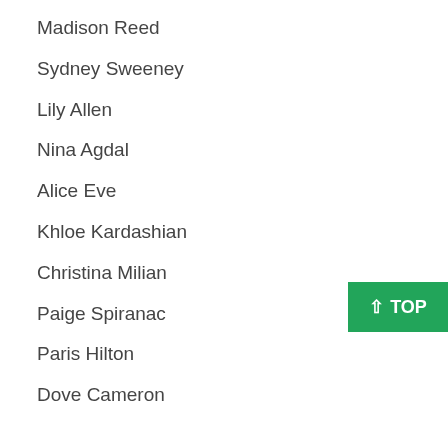Madison Reed
Sydney Sweeney
Lily Allen
Nina Agdal
Alice Eve
Khloe Kardashian
Christina Milian
Paige Spiranac
Paris Hilton
Dove Cameron